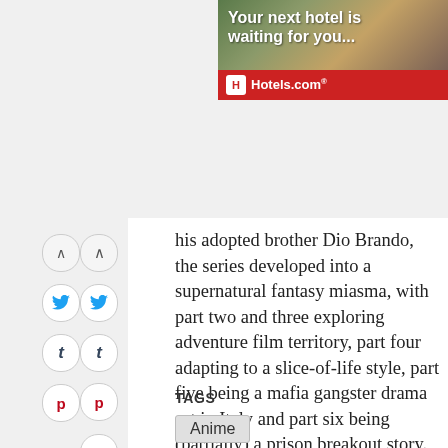[Figure (screenshot): Hotels.com advertisement banner: 'Your next hotel is waiting for you' with hotel photo and Hotels.com logo on red background]
his adopted brother Dio Brando, the series developed into a supernatural fantasy miasma, with part two and three exploring adventure film territory, part four adapting to a slice-of-life style, part five being a mafia gangster drama set in Italy and part six being (partially) a prison breakout story.
TAGS
Anime